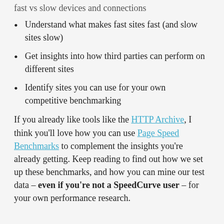fast vs slow devices and connections
Understand what makes fast sites fast (and slow sites slow)
Get insights into how third parties can perform on different sites
Identify sites you can use for your own competitive benchmarking
If you already like tools like the HTTP Archive, I think you'll love how you can use Page Speed Benchmarks to complement the insights you're already getting. Keep reading to find out how we set up these benchmarks, and how you can mine our test data – even if you're not a SpeedCurve user – for your own performance research.